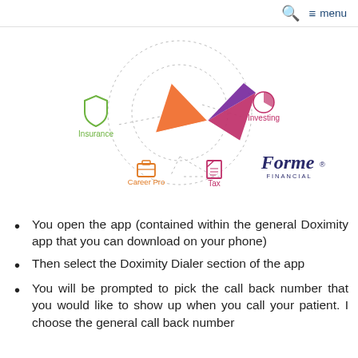🔍  ≡ menu
[Figure (infographic): Forme Financial app diagram showing interconnected financial services: Insurance (green icon, left), Investing (pink icon, right), Career Pro (orange icon, bottom left), Tax (pink icon, bottom center), with a colorful geometric bird/shape logo in the center made of orange, pink, and purple triangles, connected by dotted lines. Forme Financial logo appears at the bottom right.]
You open the app (contained within the general Doximity app that you can download on your phone)
Then select the Doximity Dialer section of the app
You will be prompted to pick the call back number that you would like to show up when you call your patient. I choose the general call back number